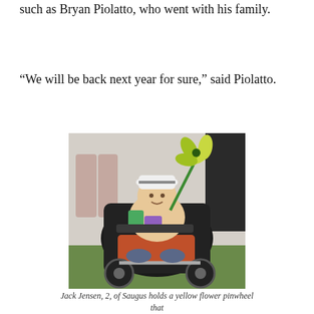such as Bryan Piolatto, who went with his family.
“We will be back next year for sure,” said Piolatto.
[Figure (photo): A toddler (Jack Jensen, 2, of Saugus) sitting in a stroller, holding a yellow pinwheel flower decoration, wearing a white hat. The child is surrounded by people at an outdoor event on grass.]
Jack Jensen, 2, of Saugus holds a yellow flower pinwheel that